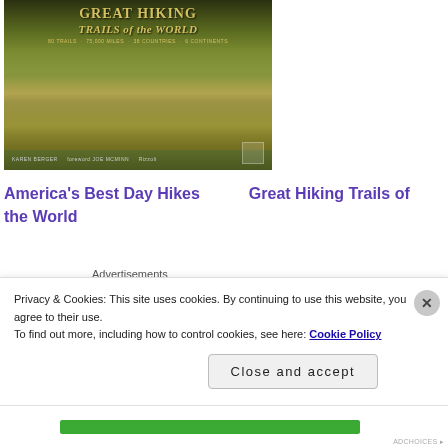[Figure (photo): Book cover of 'Great Hiking Trails of the World' by Karen Berger, showing golden grass and mountains landscape with yellow title text]
America's Best Day Hikes      Great Hiking Trails of the World
Advertisements
[Figure (screenshot): Advertisement banner with black background showing stylized logo with two squares and the number 2]
Privacy & Cookies: This site uses cookies. By continuing to use this website, you agree to their use.
To find out more, including how to control cookies, see here: Cookie Policy
Close and accept